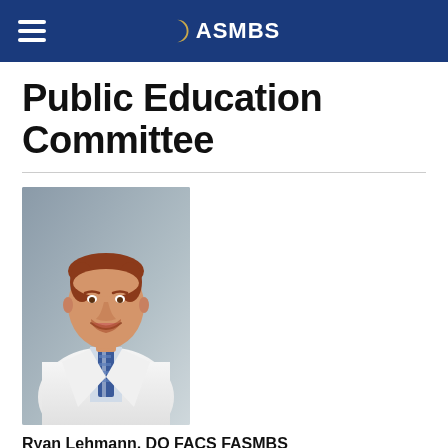ASMBS
Public Education Committee
[Figure (photo): Professional headshot of Ryan Lehmann, DO FACS FASMBS, a man in a white coat with a striped tie, smiling]
Ryan Lehmann, DO FACS FASMBS
Chair
[Figure (photo): Partial headshot of a second committee member, cropped at bottom of page]